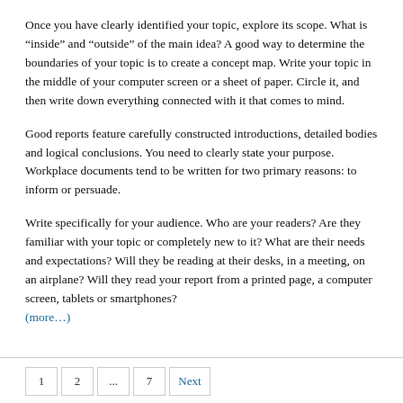Once you have clearly identified your topic, explore its scope. What is “inside” and “outside” of the main idea? A good way to determine the boundaries of your topic is to create a concept map. Write your topic in the middle of your computer screen or a sheet of paper. Circle it, and then write down everything connected with it that comes to mind.
Good reports feature carefully constructed introductions, detailed bodies and logical conclusions. You need to clearly state your purpose. Workplace documents tend to be written for two primary reasons: to inform or persuade.
Write specifically for your audience. Who are your readers? Are they familiar with your topic or completely new to it? What are their needs and expectations? Will they be reading at their desks, in a meeting, on an airplane? Will they read your report from a printed page, a computer screen, tablets or smartphones? (more…)
1  2  ...  7  Next